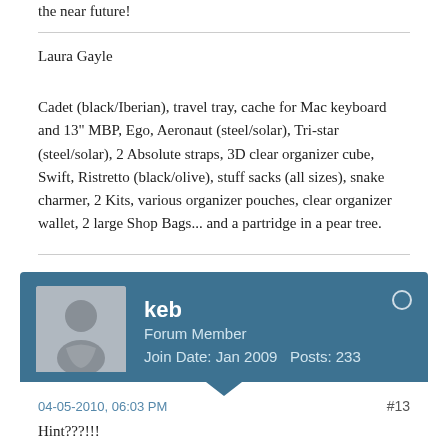the near future!
Laura Gayle
Cadet (black/Iberian), travel tray, cache for Mac keyboard and 13" MBP, Ego, Aeronaut (steel/solar), Tri-star (steel/solar), 2 Absolute straps, 3D clear organizer cube, Swift, Ristretto (black/olive), stuff sacks (all sizes), snake charmer, 2 Kits, various organizer pouches, clear organizer wallet, 2 large Shop Bags... and a partridge in a pear tree.
keb
Forum Member
Join Date: Jan 2009    Posts: 233
04-05-2010, 06:03 PM
#13
Hint???!!!
Well now.... Is that the hand of Darcy on a new product in that picture on the iPad screen? That ain't right.